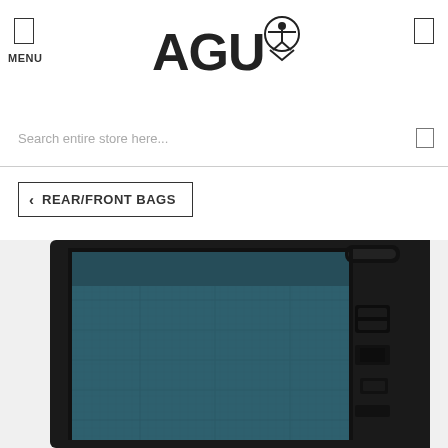AGU - MENU
Search entire store here...
< REAR/FRONT BAGS
[Figure (photo): Close-up photo of an AGU bicycle pannier bag in dark teal/blue color with black trim, roll-top closure, and black buckle fastening system on the right side.]